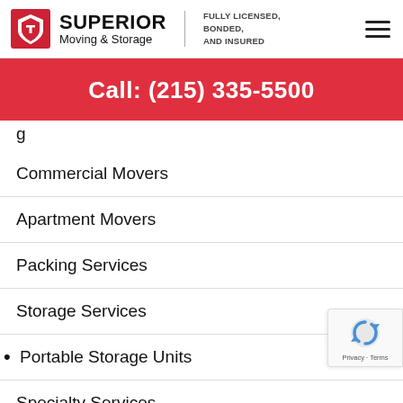[Figure (logo): Superior Moving & Storage logo with shield icon and tagline: FULLY LICENSED, BONDED, AND INSURED]
Call: (215) 335-5500
g (partially visible)
Commercial Movers
Apartment Movers
Packing Services
Storage Services
Portable Storage Units
Specialty Services